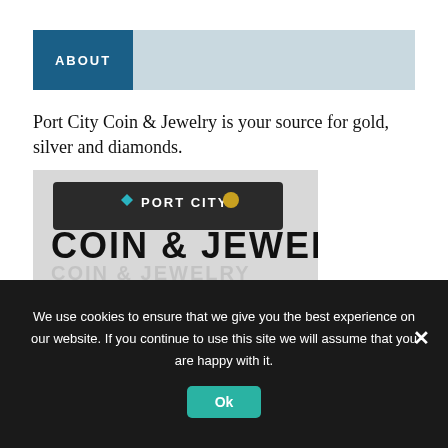ABOUT
Port City Coin & Jewelry is your source for gold, silver and diamonds.
[Figure (photo): Exterior storefront sign reading 'PORT CITY COIN & JEWELRY' with large black letters on a white building facade.]
We use cookies to ensure that we give you the best experience on our website. If you continue to use this site we will assume that you are happy with it.